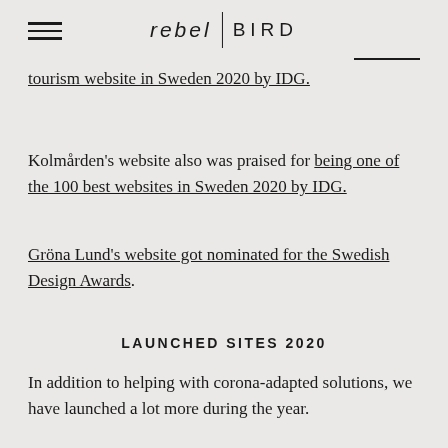rebel | BIRD
tourism website in Sweden 2020 by IDG.
Kolmården's website also was praised for being one of the 100 best websites in Sweden 2020 by IDG.
Gröna Lund's website got nominated for the Swedish Design Awards.
LAUNCHED SITES 2020
In addition to helping with corona-adapted solutions, we have launched a lot more during the year.